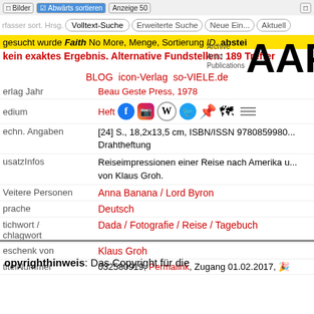Bilder | Abwärts sortieren | Anzeige 50
Volltext-Suche | Erweiterte Suche | Neue Einträge | Aktuell
gesucht wurde Faith No More, Menge, Sortierung ID, abstei
kein exaktes Ergebnis. Alternative Fundstellen: 189 Treffer
[Figure (logo): AAP Archive Artist Publications logo with large bold letters AAP and smaller text 'Archive Artist Publications']
BLOG icon-Verlag so-VIELE.de
| Feld | Wert |
| --- | --- |
| Verlag Jahr | Beau Geste Press, 1973 |
| Medium | Heft |
| Techn. Angaben | [24] S., 18,2x13,5 cm, ISBN/ISSN 9780859980..., Drahtheftung |
| ZusatzInfos | Reiseimpressionen einer Reise nach Amerika u... von Klaus Groh. |
| Weitere Personen | Anna Banana / Lord Byron |
| Sprache | Deutsch |
| Stichwort / Schlagwort | Dada / Fotografie / Reise / Tagebuch |
| Geschenk von | Klaus Groh |
| ArtikelNummer | 032580919, Permalink, Zugang 01.02.2017, 🎉 |
Copyrighthinweis: Das Copyright für die